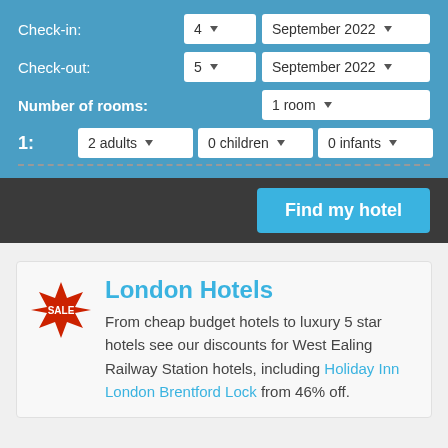Check-in: 4 ▼  September 2022 ▼
Check-out: 5 ▼  September 2022 ▼
Number of rooms: 1 room ▼
1: 2 adults ▼  0 children ▼  0 infants ▼
Find my hotel
London Hotels
From cheap budget hotels to luxury 5 star hotels see our discounts for West Ealing Railway Station hotels, including Holiday Inn London Brentford Lock from 46% off.